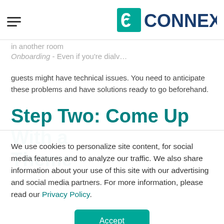6CONNEX
in another room
Onboarding - Even if you're dialv…
guests might have technical issues. You need to anticipate these problems and have solutions ready to go beforehand.
Step Two: Come Up With a Theme
We use cookies to personalize site content, for social media features and to analyze our traffic. We also share information about your use of this site with our advertising and social media partners. For more information, please read our Privacy Policy.
Accept